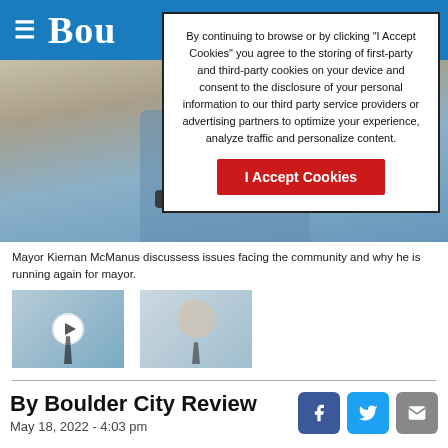Bou
By continuing to browse or by clicking “I Accept Cookies” you agree to the storing of first-party and third-party cookies on your device and consent to the disclosure of your personal information to our third party service providers or advertising partners to optimize your experience, analyze traffic and personalize content.
I Accept Cookies
[Figure (photo): Mayor Kiernan McManus seated, wearing light blue shirt and dark belt, photographed from the torso down against a neutral background]
Mayor Kiernan McManus discussess issues facing the community and why he is running again for mayor.
[Figure (photo): Thumbnail of man with tie, with play button overlay indicating a video]
[Figure (photo): Thumbnail photo of man in white shirt and tie]
By Boulder City Review
May 18, 2022 - 4:03 pm